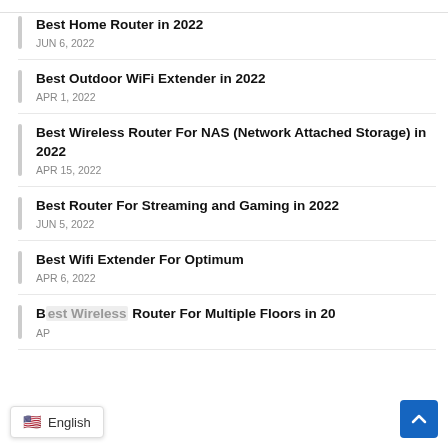Best Home Router in 2022
JUN 6, 2022
Best Outdoor WiFi Extender in 2022
APR 1, 2022
Best Wireless Router For NAS (Network Attached Storage) in 2022
APR 15, 2022
Best Router For Streaming and Gaming in 2022
JUN 5, 2022
Best Wifi Extender For Optimum
APR 6, 2022
Best Wireless Router For Multiple Floors in 20...
APR ...